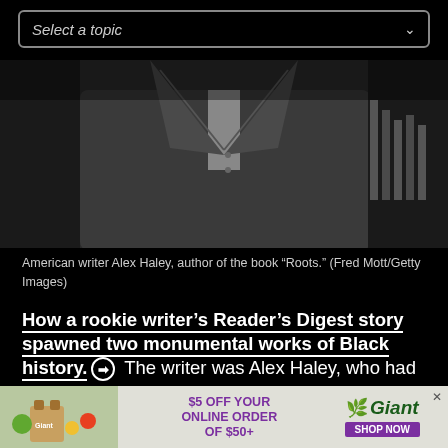Select a topic
[Figure (photo): Black and white photograph of American writer Alex Haley, showing his torso in a suit jacket]
American writer Alex Haley, author of the book “Roots.” (Fred Mott/Getty Images)
How a rookie writer’s Reader’s Digest story spawned two monumental works of Black history. ➡ The writer was Alex Haley, who had just retired from the U.S. Coast Guard at age 39. Following the publication of a story on the Nation of Islam, he would co-write “The Autobiography of Malcolm X” and
[Figure (infographic): Advertisement banner: $5 OFF YOUR ONLINE ORDER OF $50+ at Giant Food, with Shop Now button]